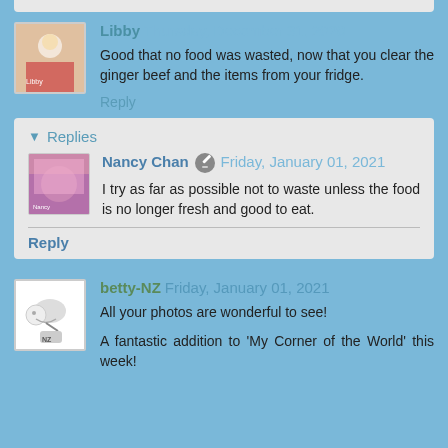Libby Thursday, December 31, 2020
Good that no food was wasted, now that you clear the ginger beef and the items from your fridge.
Reply
Replies
Nancy Chan Friday, January 01, 2021
I try as far as possible not to waste unless the food is no longer fresh and good to eat.
Reply
betty-NZ Friday, January 01, 2021
All your photos are wonderful to see!
A fantastic addition to 'My Corner of the World' this week!